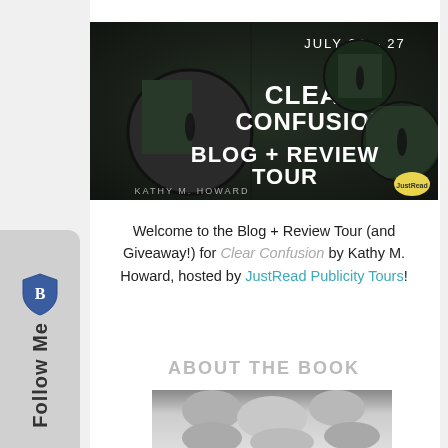[Figure (illustration): Blog + Review Tour banner for 'Clear Confusion' by Kathy M. Howard, showing book cover, circular forest images, text 'JULY 23 - 27', 'CLEAR CONFUSION', 'BLOG + REVIEW TOUR', 'KATHY M. HOWARD', and JustRead logo]
[Figure (logo): Follow Me sidebar widget with shield/lock icon and vertical text 'Follow Me']
Welcome to the Blog + Review Tour (and Giveaway!) for Clear Confusion by Kathy M. Howard, hosted by JustRead Publicity Tours!
ABOUT THE BOOK
[Figure (photo): Black and white close-up photo of hands or fingers, partially visible at bottom of page]